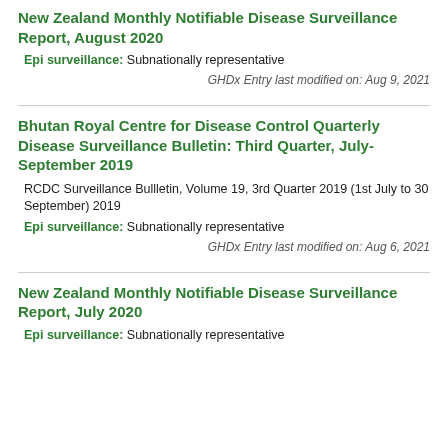New Zealand Monthly Notifiable Disease Surveillance Report, August 2020
Epi surveillance: Subnationally representative
GHDx Entry last modified on: Aug 9, 2021
Bhutan Royal Centre for Disease Control Quarterly Disease Surveillance Bulletin: Third Quarter, July-September 2019
RCDC Surveillance Bullletin, Volume 19, 3rd Quarter 2019 (1st July to 30 September) 2019
Epi surveillance: Subnationally representative
GHDx Entry last modified on: Aug 6, 2021
New Zealand Monthly Notifiable Disease Surveillance Report, July 2020
Epi surveillance: Subnationally representative